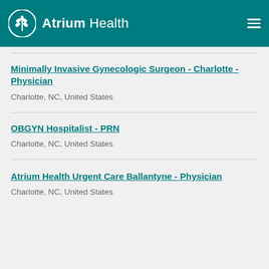Atrium Health
Minimally Invasive Gynecologic Surgeon - Charlotte - Physician
Charlotte, NC, United States
OBGYN Hospitalist - PRN
Charlotte, NC, United States
Atrium Health Urgent Care Ballantyne - Physician
Charlotte, NC, United States